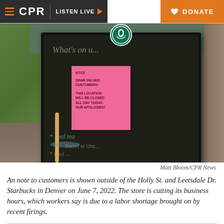CPR | LISTEN LIVE ▶ | DONATE
[Figure (photo): A Starbucks chalkboard sandwich sign outside a store with a pink sticky note reading: 6/7/22 DEAR VALUED CUSTOMERS! THIS LOCATION WILL BE CLOSED ALL DAY TODAY- OUR APOLOGIES! The sign also has chalk writing and the Starbucks logo at the top.]
Matt Bloom/CPR News
An note to customers is shown outside of the Holly St. and Leetsdale Dr. Starbucks in Denver on June 7, 2022. The store is cutting its business hours, which workers say is due to a labor shortage brought on by recent firings.